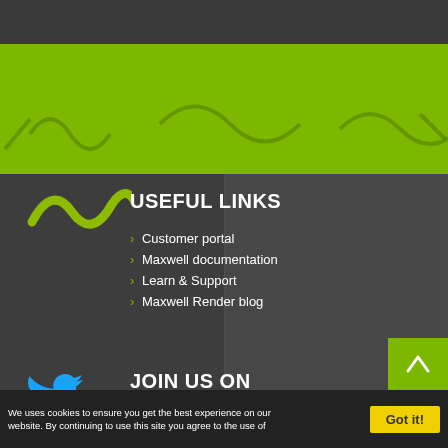[Figure (illustration): Dark top navigation bar]
[Figure (illustration): Green header bar with wavy decorative lines (Maxwell Render brand pattern)]
USEFUL LINKS
> Customer portal
> Maxwell documentation
> Learn & Support
> Maxwell Render blog
[Figure (logo): Maxwell logo mark - olive/yellow-green wave/squiggle icon]
JOIN US ON
[Figure (logo): Twitter bird icon in blue]
We uses cookies to ensure you get the best experience on our website. By continuing to use this site you agree to the use of